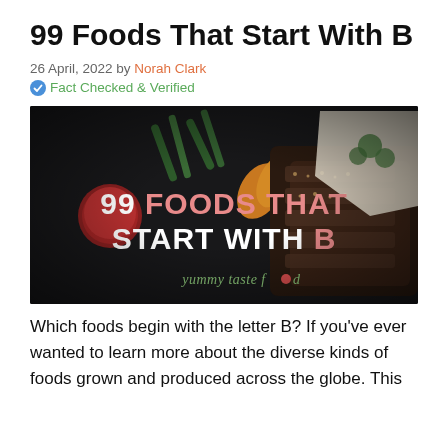99 Foods That Start With B
26 April, 2022 by Norah Clark
Fact Checked & Verified
[Figure (photo): Dark food photography background with a herb-crusted meat dish, tomatoes, asparagus, and pepper. Text overlay reads '99 FOODS THAT START WITH B' with 'yummy taste food' branding at the bottom.]
Which foods begin with the letter B? If you've ever wanted to learn more about the diverse kinds of foods grown and produced across the globe. This